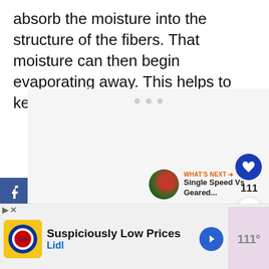absorb the moisture into the structure of the fibers. That moisture can then begin evaporating away. This helps to keep you cooler and dryer.
[Figure (screenshot): Social media share sidebar with Facebook, Twitter, Pinterest buttons; content placeholder area with loading dots; heart/like button showing 111 likes; share button; 'What's Next' recommendation showing 'Single Speed Vs Geared...' article]
[Figure (screenshot): Advertisement banner for Lidl 'Suspiciously Low Prices' with yellow Lidl logo icon, navigation arrow icon, and additional brand logo on the right]